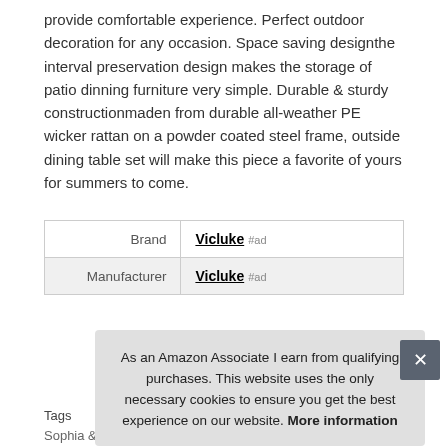provide comfortable experience. Perfect outdoor decoration for any occasion. Space saving designthe interval preservation design makes the storage of patio dinning furniture very simple. Durable & sturdy constructionmaden from durable all-weather PE wicker rattan on a powder coated steel frame, outside dining table set will make this piece a favorite of yours for summers to come.
| Brand | Vicluke #ad |
| Manufacturer | Vicluke #ad |
More information
Tags
Sophia & William · UMTEC · Vicluke · Walker Edison
As an Amazon Associate I earn from qualifying purchases. This website uses the only necessary cookies to ensure you get the best experience on our website. More information